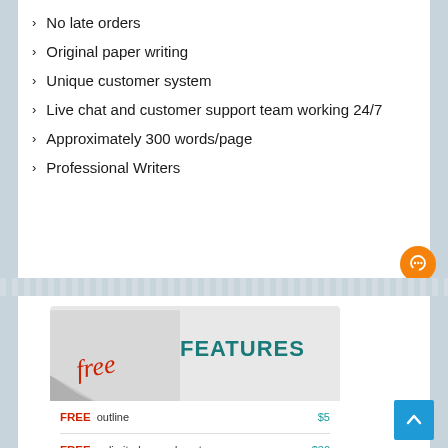No late orders
Original paper writing
Unique customer system
Live chat and customer support team working 24/7
Approximately 300 words/page
Professional Writers
[Figure (infographic): Free Features card with a page-curl graphic at the top-left, 'free' in red script, 'FEATURES' in teal bold. Below: FREE outline $5, FREE unlimited amendments $30, FREE Title page $5]